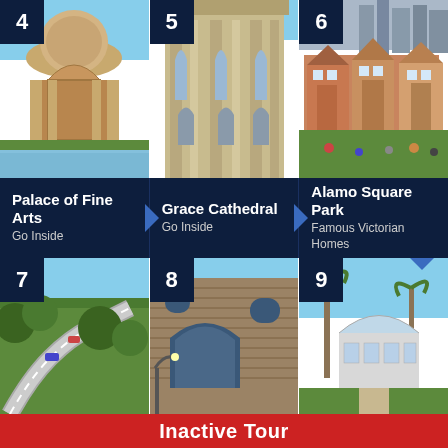[Figure (photo): Palace of Fine Arts, San Francisco - classical rotunda with arched columns reflected in water, blue sky background. Number badge '4' in top-left corner.]
[Figure (photo): Grace Cathedral, San Francisco - Gothic stone tower with vertical columns and arched windows, blue sky. Number badge '5' in top-left corner.]
[Figure (photo): Alamo Square Park - Victorian painted lady homes in foreground with modern city skyline behind, people sitting on grass. Number badge '6' in top-left corner.]
Palace of Fine Arts
Go Inside
Grace Cathedral
Go Inside
Alamo Square Park
Famous Victorian Homes
[Figure (photo): Lombard Street, San Francisco - winding road with cars surrounded by lush green trees and shrubs. Number badge '7' in top-left corner.]
[Figure (photo): Brick building with arched windows, possibly Legion of Honor or museum. Number badge '8' in top-left corner.]
[Figure (photo): Conservatory of Flowers with palm trees, greenhouse glass structure visible. Number badge '9' in top-left corner.]
Inactive Tour